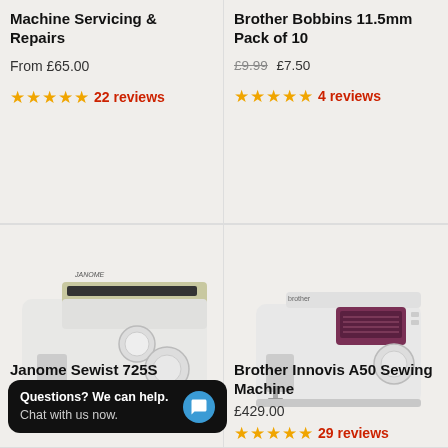Machine Servicing & Repairs
From £65.00
★★★★★ 22 reviews
Brother Bobbins 11.5mm Pack of 10
£9.99 £7.50
★★★★★ 4 reviews
[Figure (photo): Janome Sewist 725S sewing machine, white body with beige top panel]
[Figure (photo): Brother Innovis A50 sewing machine, white with pink/maroon LCD panel]
Janome Sewist 725S
Questions? We can help. Chat with us now.
★ ★ ★ ★ ★ 16 reviews
Brother Innovis A50 Sewing Machine
£429.00
★★★★★ 29 reviews